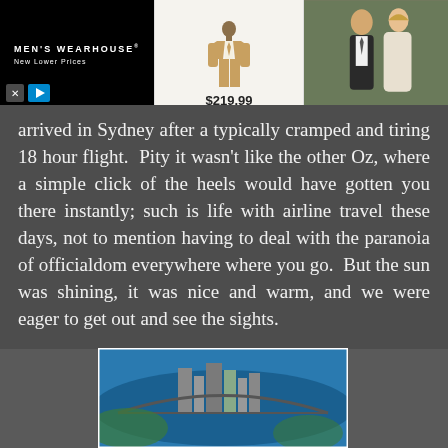[Figure (screenshot): Men's Wearhouse advertisement banner showing logo with 'New Lower Prices', a tan suit for $219.99, and a couple in formal wear]
arrived in Sydney after a typically cramped and tiring 18 hour flight. Pity it wasn't like the other Oz, where a simple click of the heels would have gotten you there instantly; such is life with airline travel these days, not to mention having to deal with the paranoia of officialdom everywhere where you go. But the sun was shining, it was nice and warm, and we were eager to get out and see the sights.
[Figure (photo): Aerial photograph of Sydney, Australia showing the harbour, bridge, city skyline and surrounding suburbs]